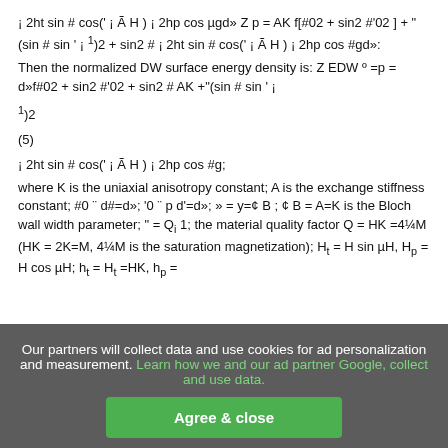Then the normalized DW surface energy density is: Z EDW º =p = d»f#02 + sin2 #'02 + sin2 # AK +"(sin # sin ' ¡
where K is the uniaxial anisotropy constant; A is the exchange stiffness constant; #0 ¨ d#=d»; '0 ¨ p d'=d»; » = y=¢ B ; ¢ B = A=K is the Bloch wall width parameter; " = Qi 1; the material quality factor Q = HK =4¼M (HK = 2K=M, 4¼M is the saturation magnetization); Ht = H sin µH, Hp = H cos µH; ht = Ht =HK, hp =